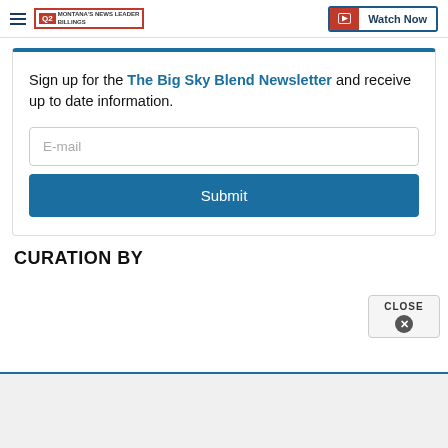Q2 MONTANA'S NEWS LEADER BILLINGS | Watch Now
Sign up for the The Big Sky Blend Newsletter and receive up to date information.
E-mail
Submit
CURATION BY
CLOSE